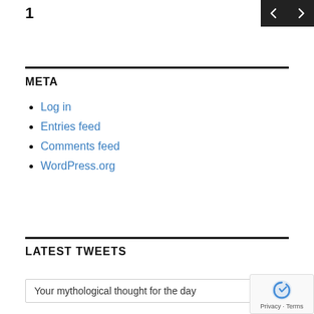1
META
Log in
Entries feed
Comments feed
WordPress.org
LATEST TWEETS
Your mythological thought for the day